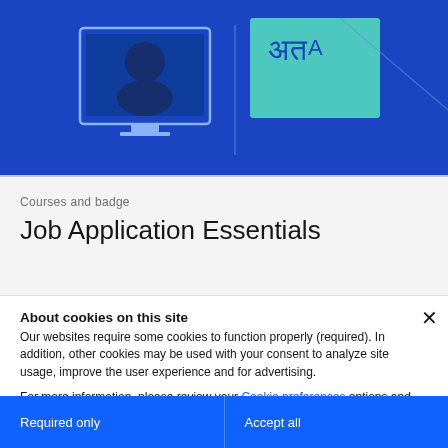[Figure (illustration): Blue banner with white icon of a person at a computer monitor on the left, and a teal/green square with multilingual characters (translation icon) on the right, on a bright blue background.]
Courses and badge
Job Application Essentials
About cookies on this site
Our websites require some cookies to function properly (required). In addition, other cookies may be used with your consent to analyze site usage, improve the user experience and for advertising.
For more information, please review your Cookie preferences options and IBM's privacy statement.
Required only
Accept all